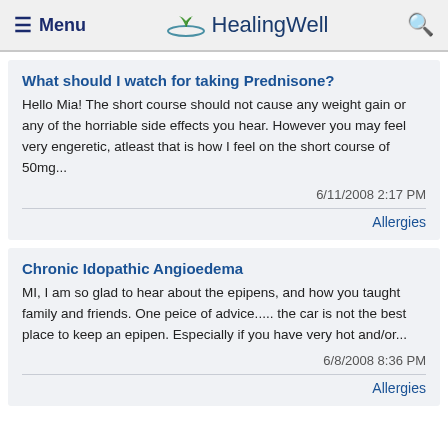≡ Menu  HealingWell  🔍
What should I watch for taking Prednisone?
Hello Mia! The short course should not cause any weight gain or any of the horriable side effects you hear. However you may feel very engeretic, atleast that is how I feel on the short course of 50mg...
6/11/2008 2:17 PM
Allergies
Chronic Idopathic Angioedema
MI, I am so glad to hear about the epipens, and how you taught family and friends. One peice of advice..... the car is not the best place to keep an epipen. Especially if you have very hot and/or...
6/8/2008 8:36 PM
Allergies